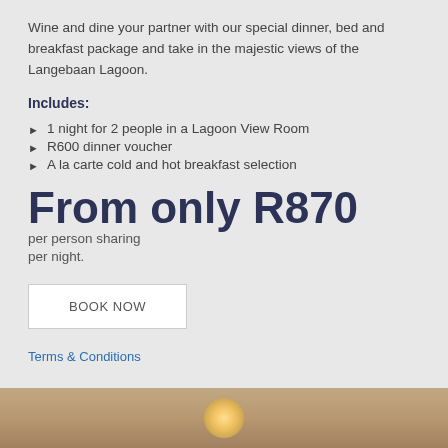Wine and dine your partner with our special dinner, bed and breakfast package and take in the majestic views of the Langebaan Lagoon.
Includes:
1 night for 2 people in a Lagoon View Room
R600 dinner voucher
A la carte cold and hot breakfast selection
From only R870 per person sharing per night.
BOOK NOW
Terms & Conditions
[Figure (photo): Bottom strip showing a warm interior hotel room photo with lamp glow]